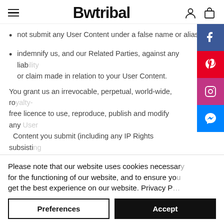Bwtribal
not submit any User Content under a false name or alias; and
indemnify us, and our Related Parties, against any liability or claim made in relation to your User Content.
You grant us an irrevocable, perpetual, world-wide, royalty-free licence to use, reproduce, publish and modify any User Content you submit (including any IP Rights subsisting therein) for the purpose of operating this Website, promoting the products sold on this Website, for impr…
Please note that our website uses cookies necessary for the functioning of our website, and to ensure you get the best experience on our website. Privacy P…
Preferences
Accept